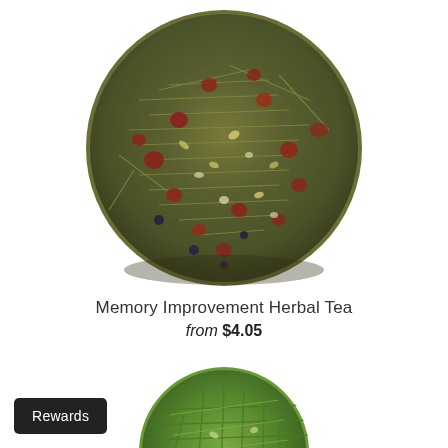[Figure (photo): Circular pile of loose-leaf herbal tea blend with dried herbs, berries, and botanicals viewed from above — Memory Improvement Herbal Tea]
Memory Improvement Herbal Tea
from $4.05
[Figure (photo): Circular pile of loose-leaf green herbal tea with long grass-like strands and yellow flower pieces viewed from above]
Rewards